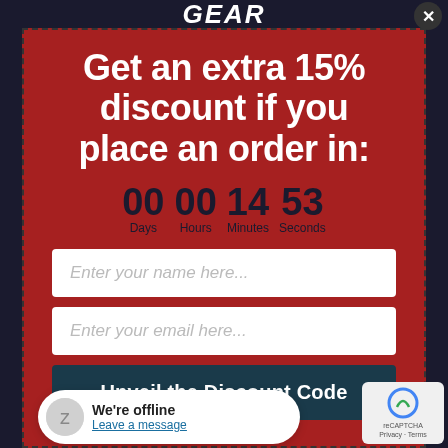GEAR
Get an extra 15% discount if you place an order in:
00 Days  00 Hours  14 Minutes  53 Seconds
Enter your name here...
Enter your email here...
Unveil the Discount Code
No thanks! I
We're offline
Leave a message